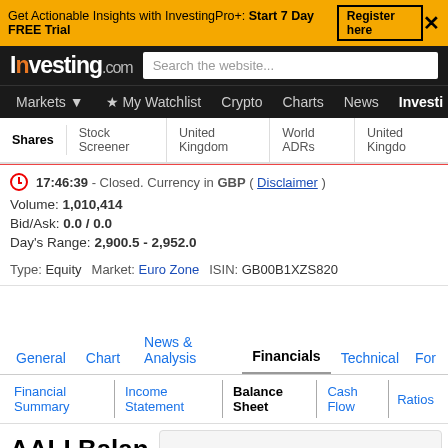Get Actionable Insights with InvestingPro+: Start 7 Day FREE Trial  Register here
Investing.com  Search the website...
Markets  My Watchlist  Crypto  Charts  News  Investi
Shares  Stock Screener  United Kingdom  World ADRs  United Kingdo
17:46:39 - Closed. Currency in GBP ( Disclaimer )
Volume: 1,010,414
Bid/Ask: 0.0 / 0.0
Day's Range: 2,900.5 - 2,952.0
Type: Equity  Market: Euro Zone  ISIN: GB00B1XZS820
General  Chart  News & Analysis  Financials  Technical  For
Financial Summary  |  Income Statement  |  Balance Sheet  |  Cash Flow  |  Ratios
AALI Balan
AAL Comments